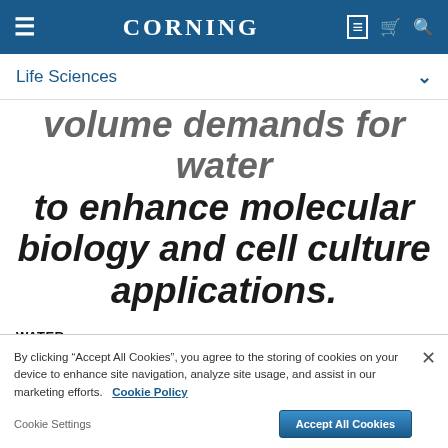CORNING
Life Sciences
volume demands for water to enhance molecular biology and cell culture applications.
WATER
By clicking "Accept All Cookies", you agree to the storing of cookies on your device to enhance site navigation, analyze site usage, and assist in our marketing efforts.  Cookie Policy